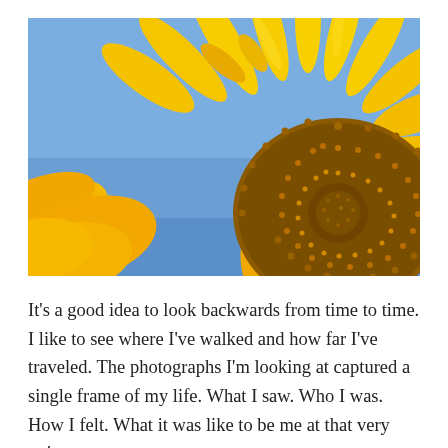[Figure (photo): Close-up photograph of a sunflower with bright yellow petals and a brown seed-covered center disk, set against a clear blue sky background.]
It's a good idea to look backwards from time to time. I like to see where I've walked and how far I've traveled. The photographs I'm looking at captured a single frame of my life. What I saw. Who I was. How I felt. What it was like to be me at that very point an...